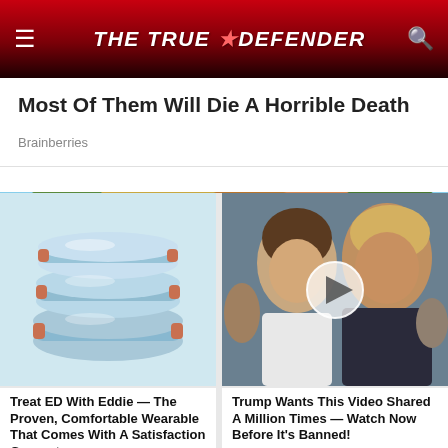THE TRUE DEFENDER
Most Of Them Will Die A Horrible Death
Brainberries
[Figure (photo): Outdoor photo showing autumn trees with orange and green foliage against a blue sky, with a 'Promoted X' badge overlay in the bottom right corner]
[Figure (photo): Photo of light blue stacked wearable rings/device (Eddie ED treatment product)]
Treat ED With Eddie — The Proven, Comfortable Wearable That Comes With A Satisfaction Guarantee
🔥 160,934
[Figure (photo): Photo of Melania Trump and Donald Trump with a video play button overlay]
Trump Wants This Video Shared A Million Times — Watch Now Before It's Banned!
🔥 37,624